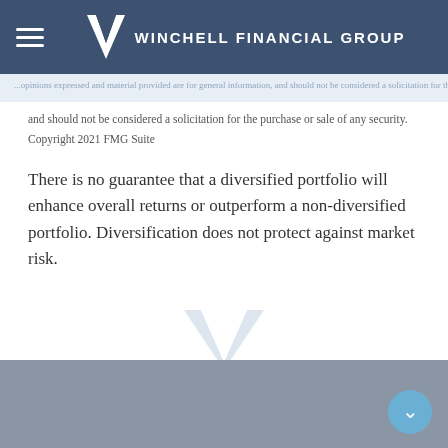Winchell Financial Group
and should not be considered a solicitation for the purchase or sale of any security. Copyright 2021 FMG Suite
There is no guarantee that a diversified portfolio will enhance overall returns or outperform a non-diversified portfolio. Diversification does not protect against market risk.
[Figure (logo): Winchell Financial Group watermark logo with decorative W emblem and horizontal rule]
Winchell Financial Group footer logo